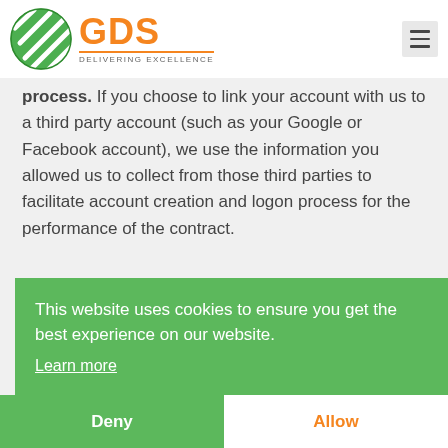GDS Delivering Excellence
process. If you choose to link your account with us to a third party account (such as your Google or Facebook account), we use the information you allowed us to collect from those third parties to facilitate account creation and logon process for the performance of the contract.
This website uses cookies to ensure you get the best experience on our website. Learn more
Deny   Allow
marketing emails at any time (see the WHAT ARE